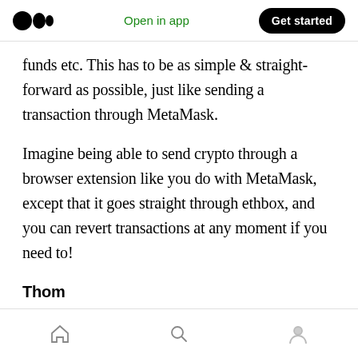Medium logo | Open in app | Get started
funds etc. This has to be as simple & straight-forward as possible, just like sending a transaction through MetaMask.
Imagine being able to send crypto through a browser extension like you do with MetaMask, except that it goes straight through ethbox, and you can revert transactions at any moment if you need to!
Thom
[ Approving GIF ]
Home | Search | Profile